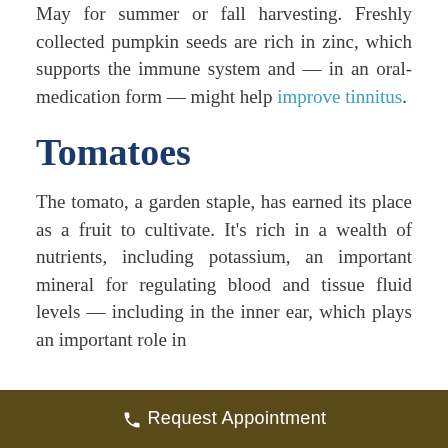May for summer or fall harvesting. Freshly collected pumpkin seeds are rich in zinc, which supports the immune system and — in an oral-medication form — might help improve tinnitus.
Tomatoes
The tomato, a garden staple, has earned its place as a fruit to cultivate. It's rich in a wealth of nutrients, including potassium, an important mineral for regulating blood and tissue fluid levels — including in the inner ear, which plays an important role in
Request Appointment